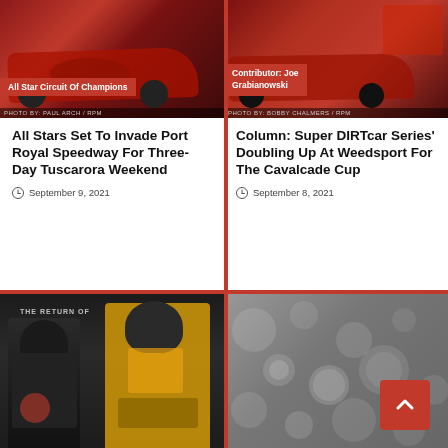[Figure (photo): Red sprint car racing photo with 'All Star Circuit Of Champions' badge, photo credit Paul Arch / RPM]
All Stars Set To Invade Port Royal Speedway For Three-Day Tuscarora Weekend
September 9, 2021
[Figure (photo): Red Indy/sprint car racing photo with 'Contributor: Joe Grabianowski' badge, photo credit Bobby Chalmers / RPM]
Column: Super DIRTcar Series' Doubling Up At Weedsport For The Cavalcade Cup
September 8, 2021
[Figure (photo): Two racing drivers posing in victory lane, one in dark suit and one in yellow suit, with banner reading 'The Return Of']
[Figure (photo): Gray bokeh/decorative background with circular light spots, red scroll-to-top button with upward chevron in bottom right]